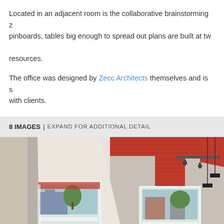Located in an adjacent room is the collaborative brainstorming zone with pinboards, tables big enough to spread out plans are built at two heights with resources. The office was designed by Zecc Architects themselves and is shared with clients.
8 IMAGES | EXPAND FOR ADDITIONAL DETAIL
[Figure (photo): Interior architectural photograph of a room with high ceilings, white walls, large windows with shutter-style blinds looking out to a brick building and trees, and exposed red-painted ceiling beams/ductwork. Track lighting and pendant lights hang from the ceiling.]